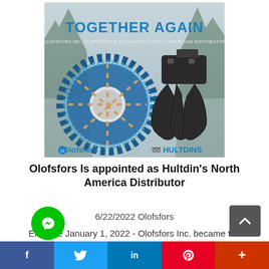[Figure (illustration): Promotional advertisement image showing Olofsfors and Hultdins products together. Blue tire chains and a black grapple claw against a misty forest background. Text reads 'TOGETHER AGAIN' and 'OLOFSFORS INC. IS APPOINTED AS HULTDINS NORTH AMERICAN DISTRIBUTOR'. Logos for Olofsfors and Hultdins at the bottom.]
Olofsfors Is appointed as Hultdin's North America Distributor
6/22/2022 Olofsfors
Effective January 1, 2022 - Olofsfors Inc. became the distributor for Hultdins products in the North American market.